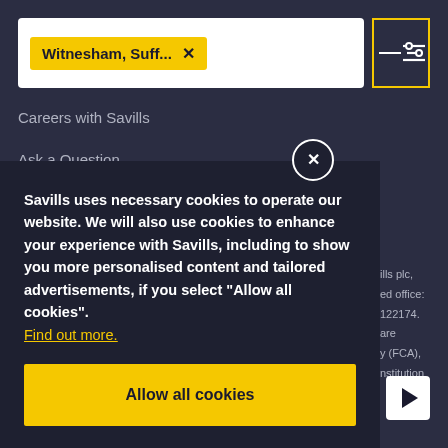[Figure (screenshot): Search bar with yellow tag 'Witnesham, Suff...' and close X button, plus yellow-bordered filter icon button top right]
Careers with Savills
Ask a Question
Investor Relations
Savills uses necessary cookies to operate our website. We will also use cookies to enhance your experience with Savills, including to show you more personalised content and tailored advertisements, if you select "Allow all cookies". Find out more.
Allow all cookies